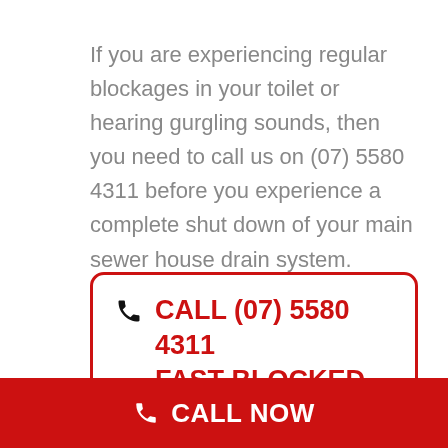If you are experiencing regular blockages in your toilet or hearing gurgling sounds, then you need to call us on (07) 5580 4311 before you experience a complete shut down of your main sewer house drain system.
CALL (07) 5580 4311 FAST BLOCKED TOILET SERVICE
CALL NOW